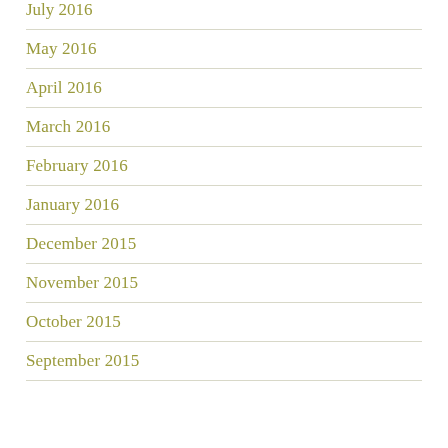July 2016
May 2016
April 2016
March 2016
February 2016
January 2016
December 2015
November 2015
October 2015
September 2015